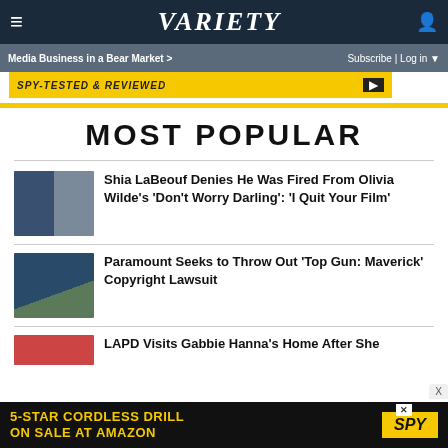VARIETY — Media Business in a Bear Market > | Subscribe | Log in
[Figure (screenshot): Variety logo navigation bar with hamburger menu and user icon on dark blue background]
[Figure (screenshot): Advertisement banner: SPY-TESTED & REVIEWED on yellow/black background]
MOST POPULAR
Shia LaBeouf Denies He Was Fired From Olivia Wilde's 'Don't Worry Darling': 'I Quit Your Film'
Paramount Seeks to Throw Out 'Top Gun: Maverick' Copyright Lawsuit
LAPD Visits Gabbie Hanna's Home After She...
[Figure (screenshot): Bottom advertisement: 5-STAR CORDLESS DRILL ON SALE AT AMAZON by SPY]